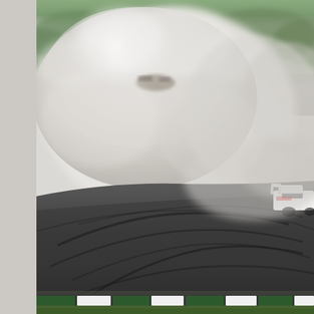[Figure (photo): A motorsport racing track scene with a large cloud of white tire smoke filling the upper portion of the image. A white race car is partially visible on the right edge of the track. The track surface is dark asphalt with visible tire marks and skid lines. Green and white barrier boards are visible at the bottom edge. Trees are visible in the background above the smoke. The left side of the page has a light gray/white margin strip.]